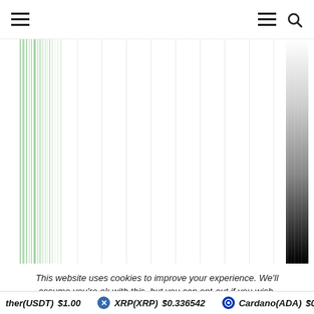Navigation header with hamburger menu and search icon
[Figure (continuous-plot): Cryptocurrency market chart showing vertical bar patterns — a dense cluster of light green bars on the left and a gradient dark bar (white to black, top to bottom) on the right, with multiple thin light gray vertical lines across the middle area. Appears to be a heatmap or candlestick-style chart of crypto market data.]
This website uses cookies to improve your experience. We'll assume you're ok with this, but you can opt-out if you wish.
Tether(USDT) $1.00   XRP(XRP) $0.336542   Cardano(ADA) $0.